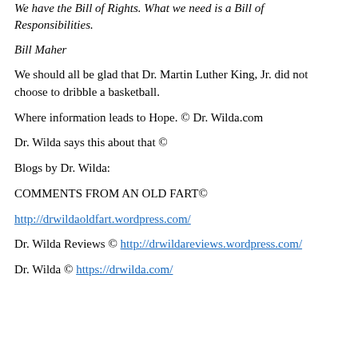We have the Bill of Rights. What we need is a Bill of Responsibilities.
Bill Maher
We should all be glad that Dr. Martin Luther King, Jr. did not choose to dribble a basketball.
Where information leads to Hope. © Dr. Wilda.com
Dr. Wilda says this about that ©
Blogs by Dr. Wilda:
COMMENTS FROM AN OLD FART©
http://drwildaoldfart.wordpress.com/
Dr. Wilda Reviews © http://drwildareviews.wordpress.com/
Dr. Wilda © https://drwilda.com/